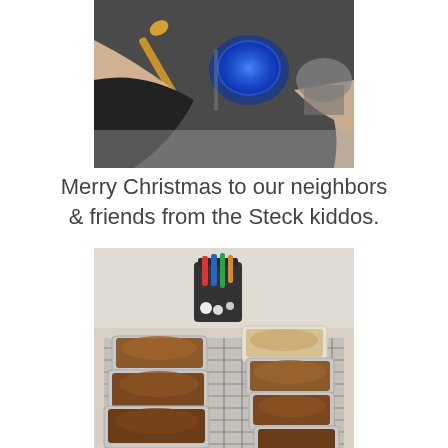[Figure (photo): A child in a black top holding a wooden spoon while mixing batter in a kitchen, with a blue bowl and metal mixer visible in the background.]
Merry Christmas to our neighbors & friends from the Steck kiddos.
[Figure (photo): Multiple loaves of baked bread cooling on a wire rack on a kitchen counter, some in aluminum foil pans, with a utensil holder containing colorful measuring spoons visible in the background.]